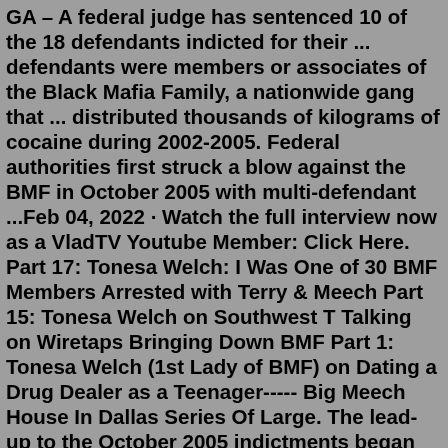GA – A federal judge has sentenced 10 of the 18 defendants indicted for their ... defendants were members or associates of the Black Mafia Family, a nationwide gang that ... distributed thousands of kilograms of cocaine during 2002-2005. Federal authorities first struck a blow against the BMF in October 2005 with multi-defendant ...Feb 04, 2022 · Watch the full interview now as a VladTV Youtube Member: Click Here. Part 17: Tonesa Welch: I Was One of 30 BMF Members Arrested with Terry & Meech Part 15: Tonesa Welch on Southwest T Talking on Wiretaps Bringing Down BMF Part 1: Tonesa Welch (1st Lady of BMF) on Dating a Drug Dealer as a Teenager----- Big Meech House In Dallas Series Of Large. The lead-up to the October 2005 indictments began with a series of large drug seizures and subsequent informant testimonies from BMF members. On October 28, 2003, a 2-year Organized Crime Drug Enforcement Task Force investigation began, coordinated by the DEAs Special Operations Division and codenamed ...By Max Gao • 10/22/21